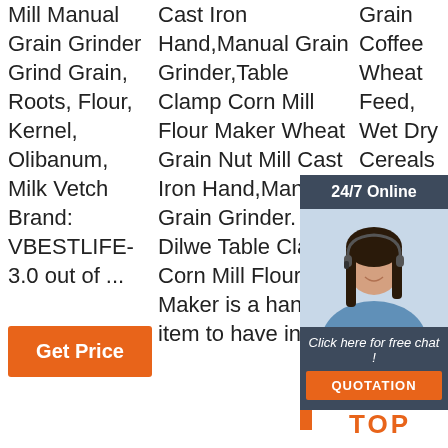Mill Manual Grain Grinder Grind Grain, Roots, Flour, Kernel, Olibanum, Milk Vetch Brand: VBESTLIFE-3.0 out of ...
Get Price
Cast Iron Hand,Manual Grain Grinder,Table Clamp Corn Mill Flour Maker Wheat Grain Nut Mill Cast Iron Hand,Manual Grain Grinder. The Dilwe Table Clamp Corn Mill Flour Maker is a handy item to have in your
Grain Coffee Wheat Feed, Wet Dry Cereals G W dr
[Figure (other): Chat widget with 24/7 Online header, photo of woman with headset, 'Click here for free chat!' text, and QUOTATION button, plus orange side bar]
[Figure (other): TOP button with orange dots above and orange bold text TOP]